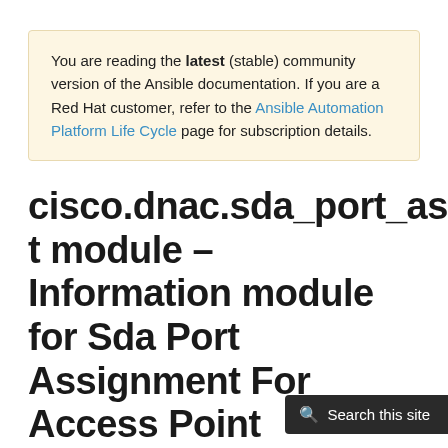You are reading the latest (stable) community version of the Ansible documentation. If you are a Red Hat customer, refer to the Ansible Automation Platform Life Cycle page for subscription details.
cisco.dnac.sda_port_assignment module – Information module for Sda Port Assignment For Access Point
Note
This module is part of the cisco.dnac collection (version 6.5.0)